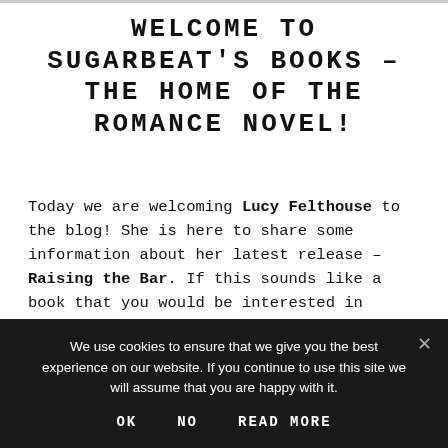WELCOME TO SUGARBEAT'S BOOKS – THE HOME OF THE ROMANCE NOVEL!
Today we are welcoming Lucy Felthouse to the blog! She is here to share some information about her latest release – Raising the Bar. If this sounds like a book that you would be interested in reading, please use buy links at the bottom of the post to pick up a copy!
[Figure (photo): Partial view of a book cover image at the bottom of the page]
We use cookies to ensure that we give you the best experience on our website. If you continue to use this site we will assume that you are happy with it.
OK   NO   READ MORE